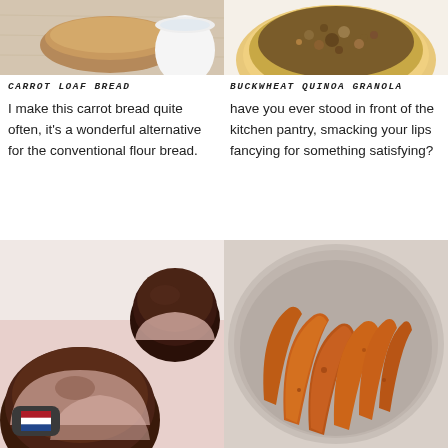[Figure (photo): Carrot loaf bread with a bowl of milk on a white wooden surface]
[Figure (photo): Buckwheat quinoa granola in a bowl with gold rim]
CARROT LOAF BREAD
BUCKWHEAT QUINOA GRANOLA
I make this carrot bread quite often, it's a wonderful alternative for the conventional flour bread.
have you ever stood in front of the kitchen pantry, smacking your lips fancying for something satisfying?
[Figure (photo): Chocolate truffles in pink paper cupcake liners]
[Figure (photo): Spiced sweet potato wedges in a ceramic bowl]